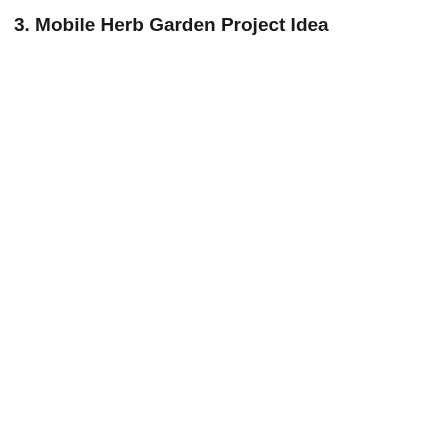3. Mobile Herb Garden Project Idea